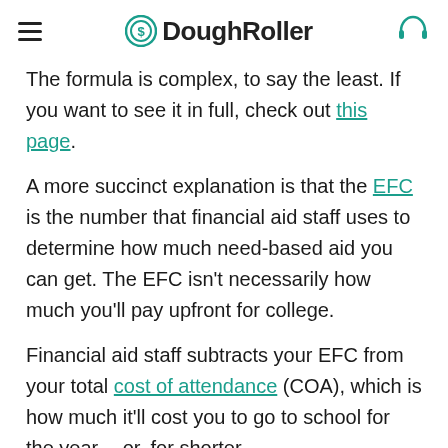DoughRoller
The formula is complex, to say the least. If you want to see it in full, check out this page.
A more succinct explanation is that the EFC is the number that financial aid staff uses to determine how much need-based aid you can get. The EFC isn't necessarily how much you'll pay upfront for college.
Financial aid staff subtracts your EFC from your total cost of attendance (COA), which is how much it'll cost you to go to school for the year -- or, for shorter
In This Article